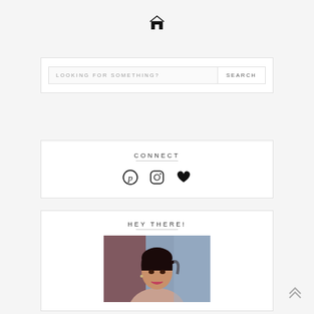[Figure (illustration): Home icon (house symbol) at top center of page]
LOOKING FOR SOMETHING?  SEARCH
CONNECT
[Figure (illustration): Social media icons: Pinterest, Instagram, and heart/Bloglovin icons]
HEY THERE!
[Figure (photo): Portrait photo of a young woman with dark hair pulled back, wearing earrings, looking at camera with city background]
[Figure (illustration): Back to top double-chevron arrow icon at bottom right]